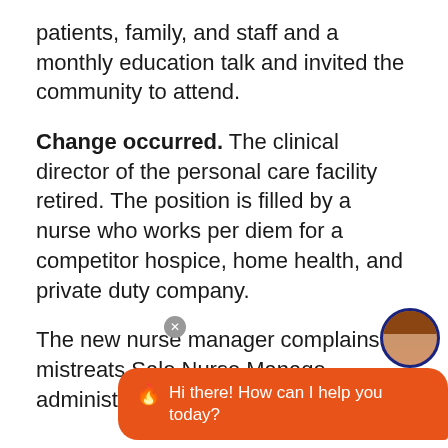patients, family, and staff and a monthly education talk and invited the community to attend.
Change occurred. The clinical director of the personal care facility retired. The position is filled by a nurse who works per diem for a competitor hospice, home health, and private duty company.
The new nurse manager complains a mistreats Sale Nurse Manage administration and complains